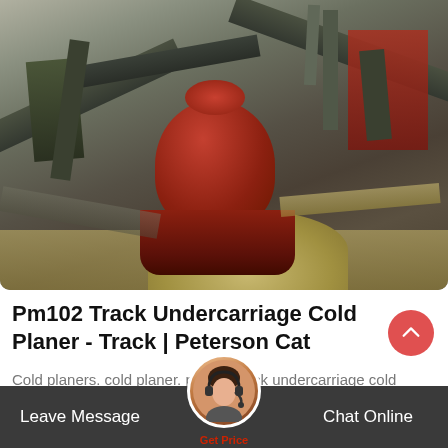[Figure (photo): Aerial/overhead view of an industrial quarry or mining site with large red cone crusher in the center, conveyor belts, structural framework, sand piles, and machinery spread across the scene.]
Pm102 Track Undercarriage Cold Planer - Track | Peterson Cat
Cold planers. cold planer. pm102 track undercarriage cold planer request a quote pm102 - track attachments new and used inventory. specificatio...ary collecting conveyor...
Leave Message   Chat Online